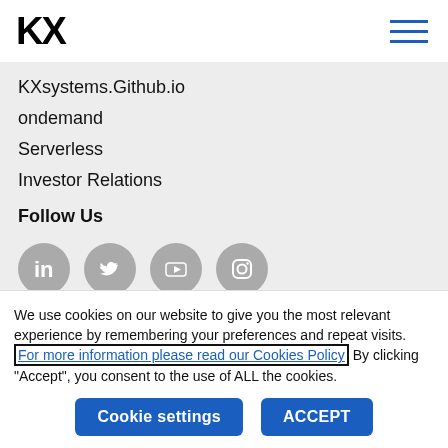KX (logo) with hamburger menu
KXsystems.Github.io
ondemand
Serverless
Investor Relations
Follow Us
[Figure (illustration): Four circular grey social media icons: LinkedIn, Twitter, YouTube, Instagram]
We use cookies on our website to give you the most relevant experience by remembering your preferences and repeat visits. For more information please read our Cookies Policy By clicking "Accept", you consent to the use of ALL the cookies.
Cookie settings | ACCEPT